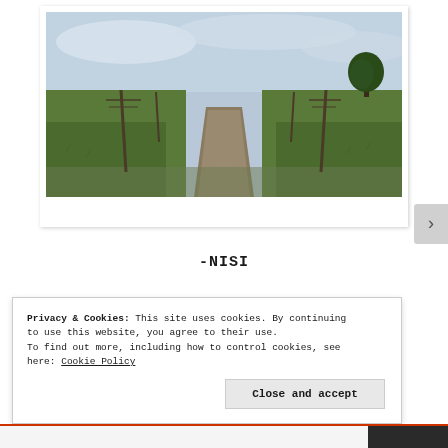[Figure (photo): Photograph of a rural dirt road stretching into the distance, flanked by flat green fields, utility poles on both sides, a large tree at the horizon, and an overcast sky. Photo is in a white polaroid-style border.]
-NISI
Advertisement
Privacy & Cookies: This site uses cookies. By continuing to use this website, you agree to their use.
To find out more, including how to control cookies, see here: Cookie Policy

Close and accept